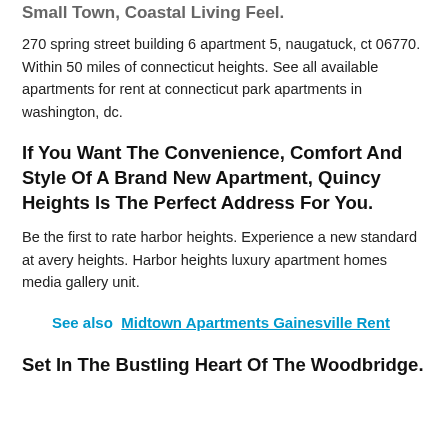Small Town, Coastal Living Feel.
270 spring street building 6 apartment 5, naugatuck, ct 06770. Within 50 miles of connecticut heights. See all available apartments for rent at connecticut park apartments in washington, dc.
If You Want The Convenience, Comfort And Style Of A Brand New Apartment, Quincy Heights Is The Perfect Address For You.
Be the first to rate harbor heights. Experience a new standard at avery heights. Harbor heights luxury apartment homes media gallery unit.
See also  Midtown Apartments Gainesville Rent
Set In The Bustling Heart Of The Woodbridge.